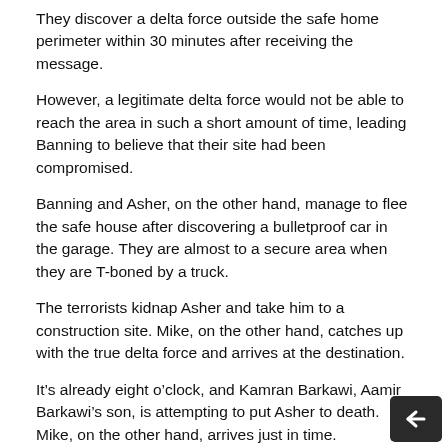They discover a delta force outside the safe home perimeter within 30 minutes after receiving the message.
However, a legitimate delta force would not be able to reach the area in such a short amount of time, leading Banning to believe that their site had been compromised.
Banning and Asher, on the other hand, manage to flee the safe house after discovering a bulletproof car in the garage. They are almost to a secure area when they are T-boned by a truck.
The terrorists kidnap Asher and take him to a construction site. Mike, on the other hand, catches up with the true delta force and arrives at the destination.
It’s already eight o’clock, and Kamran Barkawi, Aamir Barkawi’s son, is attempting to put Asher to death. Mike, on the other hand, arrives just in time.
They depart the site after a firefight. Mike begs the delt